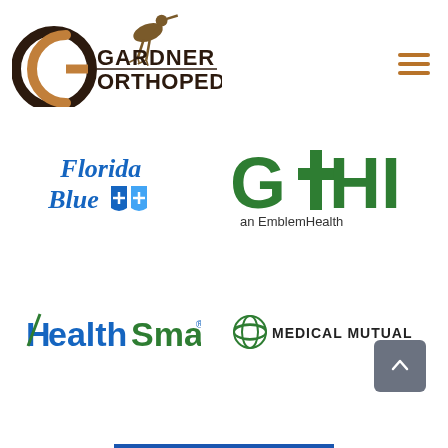[Figure (logo): Gardner Orthopedics logo with stylized G and O letters and bird/runner silhouette]
[Figure (logo): Hamburger menu icon (three horizontal brown lines)]
[Figure (logo): Florida Blue insurance logo with blue italic text and shield emblems]
[Figure (logo): GHI an EmblemHealth logo in green]
[Figure (logo): HealthSmart logo in blue and green]
[Figure (logo): Medical Mutual logo with green spiral globe icon]